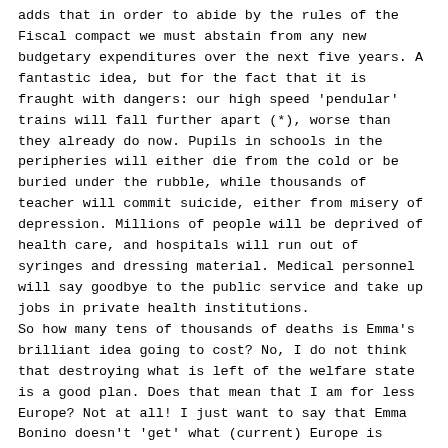adds that in order to abide by the rules of the Fiscal compact we must abstain from any new budgetary expenditures over the next five years. A fantastic idea, but for the fact that it is fraught with dangers: our high speed 'pendular' trains will fall further apart (*), worse than they already do now. Pupils in schools in the peripheries will either die from the cold or be buried under the rubble, while thousands of teacher will commit suicide, either from misery of depression. Millions of people will be deprived of health care, and hospitals will run out of syringes and dressing material. Medical personnel will say goodbye to the public service and take up jobs in private health institutions.
So how many tens of thousands of deaths is Emma's brilliant idea going to cost? No, I do not think that destroying what is left of the welfare state is a good plan. Does that mean that I am for less Europe? Not at all! I just want to say that Emma Bonino doesn't 'get' what (current) Europe is about.
Over the last years the European Union died in the heart of the majority of Europeans. And the anti-Europe sentiment has grown in exact proportion with the pace